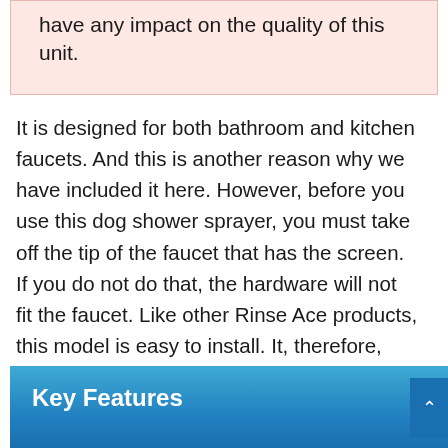have any impact on the quality of this unit.
It is designed for both bathroom and kitchen faucets. And this is another reason why we have included it here. However, before you use this dog shower sprayer, you must take off the tip of the faucet that has the screen. If you do not do that, the hardware will not fit the faucet. Like other Rinse Ace products, this model is easy to install. It, therefore, goes without saying that you will be able to use it shortly after receiving it.
Key Features